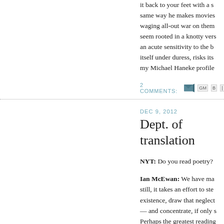it back to your feet with a s same way he makes movies waging all-out war on them seem rooted in a knotty vers an acute sensitivity to the b itself under duress, risks its my Michael Haneke profile
2 COMMENTS:
DEC 9, 2012
Dept. of translation
NYT: Do you read poetry?
Ian McEwan: We have ma still, it takes an effort to ste existence, draw that neglect — and concentrate, if only Perhaps the greatest reading annihilation. To b